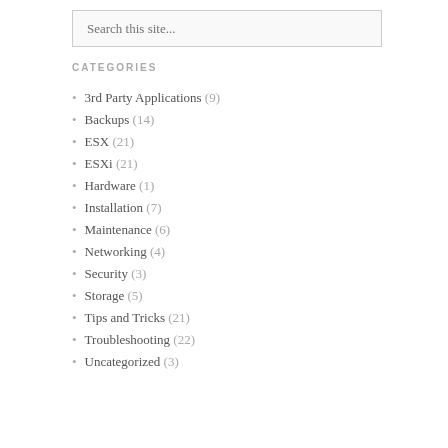Search this site...
CATEGORIES
3rd Party Applications (9)
Backups (14)
ESX (21)
ESXi (21)
Hardware (1)
Installation (7)
Maintenance (6)
Networking (4)
Security (3)
Storage (5)
Tips and Tricks (21)
Troubleshooting (22)
Uncategorized (3)